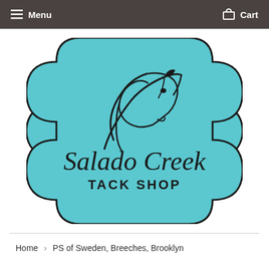Menu   Cart
[Figure (logo): Salado Creek Tack Shop logo: teal/turquoise decorative badge shape with a horse head silhouette in black line art, text 'Salado Creek' in large serif font and 'TACK SHOP' in smaller bold caps below, all on a light blue-teal background with a dark outline border.]
Home › PS of Sweden, Breeches, Brooklyn